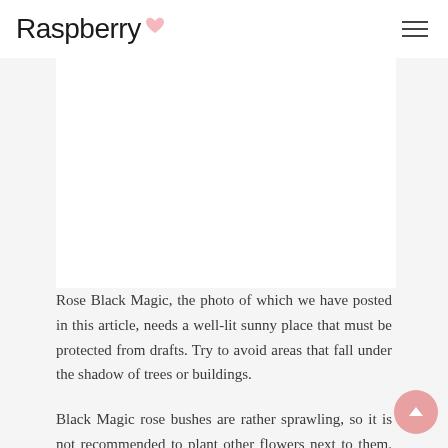Raspberry
[Figure (photo): White rectangular image area, likely a photo of a rose or related content, shown as a white box in the article layout]
Rose Black Magic, the photo of which we have posted in this article, needs a well-lit sunny place that must be protected from drafts. Try to avoid areas that fall under the shadow of trees or buildings.
Black Magic rose bushes are rather sprawling, so it is not recommended to plant other flowers next to them. Creating a group planting, leave the distance between the bushes at least one meter.